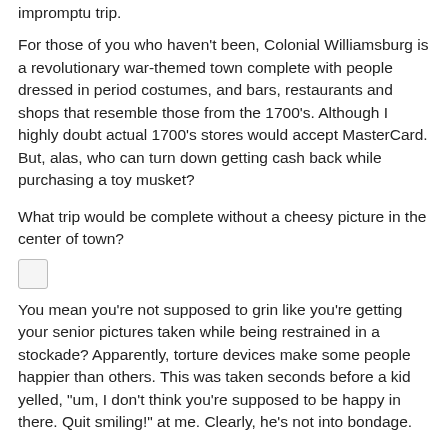impromptu trip.
For those of you who haven't been, Colonial Williamsburg is a revolutionary war-themed town complete with people dressed in period costumes, and bars, restaurants and shops that resemble those from the 1700's. Although I highly doubt actual 1700's stores would accept MasterCard. But, alas, who can turn down getting cash back while purchasing a toy musket?
What trip would be complete without a cheesy picture in the center of town?
[Figure (photo): Small image placeholder thumbnail]
You mean you're not supposed to grin like you're getting your senior pictures taken while being restrained in a stockade? Apparently, torture devices make some people happier than others. This was taken seconds before a kid yelled, "um, I don't think you're supposed to be happy in there. Quit smiling!" at me. Clearly, he's not into bondage.
[Figure (photo): Small image placeholder thumbnail]
Me thinks the sign might be referring to a different kind of revolution. But, who doesn't like an excuse to raise their fist